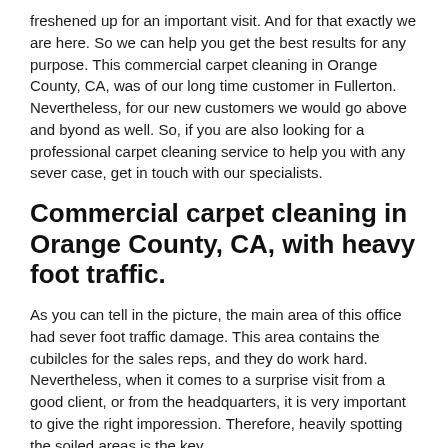freshened up for an important visit. And for that exactly we are here. So we can help you get the best results for any purpose. This commercial carpet cleaning in Orange County, CA, was of our long time customer in Fullerton. Nevertheless, for our new customers we would go above and byond as well. So, if you are also looking for a professional carpet cleaning service to help you with any sever case, get in touch with our specialists.
Commercial carpet cleaning in Orange County, CA, with heavy foot traffic.
As you can tell in the picture, the main area of this office had sever foot traffic damage. This area contains the cubilcles for the sales reps, and they do work hard. Nevertheless, when it comes to a surprise visit from a good client, or from the headquarters, it is very important to give the right imporession. Therefore, heavily spotting the soiled areas is the key.
In this case we had to use two different types of carpet cleaning solutions. One formula was apllied first at 1:1 ratio. And the follow up formula was added later on for extra strength at 1:3 ratio. The results you can see for yourself. Although the main foor traffic areas contained the blackish soiled portions found there...